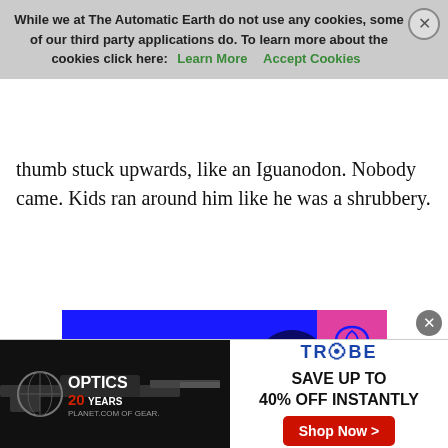While we at The Automatic Earth do not use any cookies, some of our third party applications do. To learn more about the cookies click here: Learn More  Accept Cookies
thumb stuck upwards, like an Iguanodon. Nobody came. Kids ran around him like he was a shrubbery.
[Figure (illustration): Book cover for 'The Revolt' by Martin Gurri, published by Stripe Press. Blue background with a classical portrait of a woman wearing a crown/tiara rendered in dark blue tones. Pink large text reads 'THE' and partially 'REVOLT' at the bottom. Pink square badge with stylized 'S' logo in top right corner.]
[Figure (infographic): Advertisement banner for Optics Planet (20 years) on the left showing a rifle/gun image, and Tryb on the right with text 'SAVE UP TO 40% OFF INSTANTLY' and a red 'Shop Now >' button.]